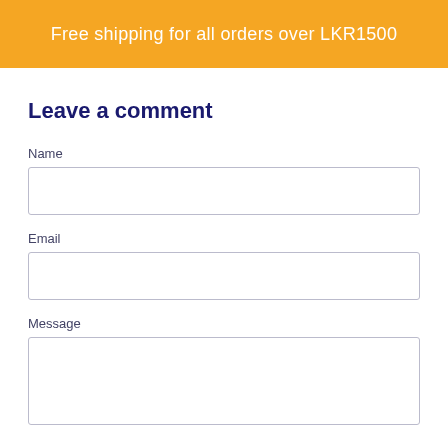Free shipping for all orders over LKR1500
Leave a comment
Name
Email
Message